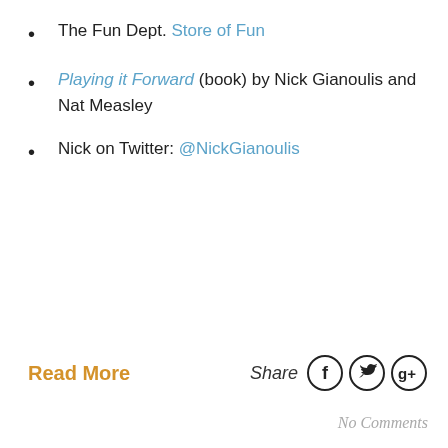The Fun Dept. Store of Fun
Playing it Forward (book) by Nick Gianoulis and Nat Measley
Nick on Twitter: @NickGianoulis
Read More
Share
No Comments